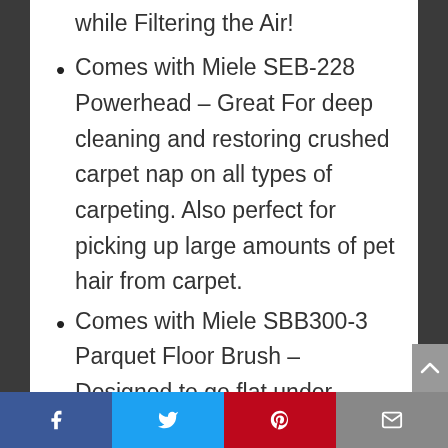while Filtering the Air!
Comes with Miele SEB-228 Powerhead – Great For deep cleaning and restoring crushed carpet nap on all types of carpeting. Also perfect for picking up large amounts of pet hair from carpet.
Comes with Miele SBB300-3 Parquet Floor Brush – Designed to go flat under baseboards, low under furniture, tight up against kick jams and around chair legs. With a 90 degree twisting rotation there not